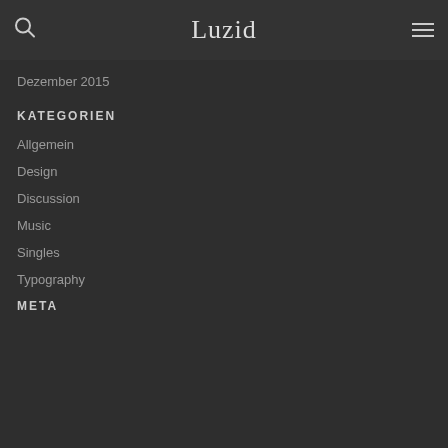Luzid
Dezember 2015
KATEGORIEN
Allgemein
Design
Discussion
Music
Singles
Typography
META